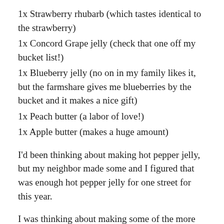1x Strawberry rhubarb (which tastes identical to the strawberry)
1x Concord Grape jelly (check that one off my bucket list!)
1x Blueberry jelly (no on in my family likes it, but the farmshare gives me blueberries by the bucket and it makes a nice gift)
1x Peach butter (a labor of love!)
1x Apple butter (makes a huge amount)
I'd been thinking about making hot pepper jelly, but my neighbor made some and I figured that was enough hot pepper jelly for one street for this year.
I was thinking about making some of the more unusual recipes from my beloved “Ball Book of Home Preserving”. There’s a curried apple chutney that would help if I only get 45 apples next week, which sounds fascinating and exotic. Oh, and I think I’ll